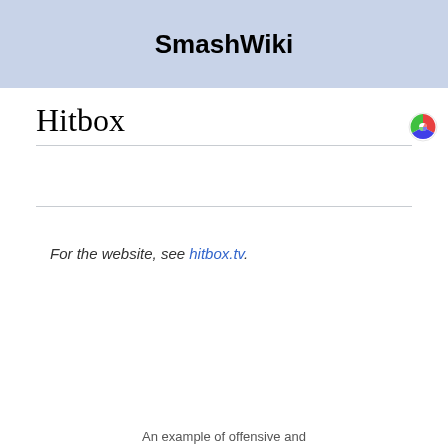SmashWiki
[Figure (logo): Circular colorful logo icon in top right corner]
Hitbox
For the website, see hitbox.tv.
An example of offensive and